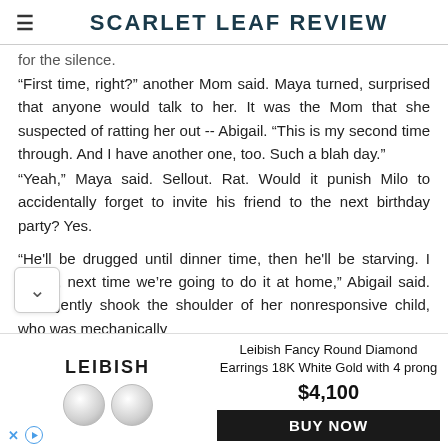SCARLET LEAF REVIEW
for the silence.
"First time, right?" another Mom said. Maya turned, surprised that anyone would talk to her. It was the Mom that she suspected of ratting her out -- Abigail. "This is my second time through. And I have another one, too. Such a blah day."
"Yeah," Maya said. Sellout. Rat. Would it punish Milo to accidentally forget to invite his friend to the next birthday party? Yes.

"He'll be drugged until dinner time, then he'll be starving. I swear, next time we're going to do it at home," Abigail said. She gently shook the shoulder of her nonresponsive child, who was mechanically eating ice cream.
[Figure (other): Advertisement for Leibish Fancy Round Diamond Earrings 18K White Gold with 4 prong, priced at $4,100 with a BUY NOW button. Shows LEIBISH logo and two round diamond earring images.]